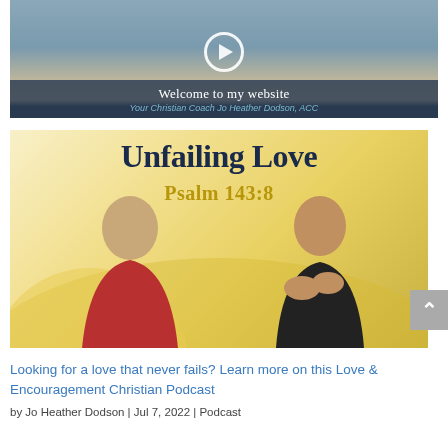[Figure (screenshot): Video thumbnail showing a woman in a gray blazer in front of a bookshelf, with a play button overlay and text 'Welcome to my website' and 'Your Christian Coach Jo Heather Dodson, ACC']
[Figure (photo): Podcast thumbnail image for 'Unfailing Love' with text 'Psalm 143:8' in gold, showing two women — one in a red jacket on the left and one in a black shirt on the right, on a gold/yellow background]
Looking for a love that never fails? Learn more on this Love & Encouragement Christian Podcast
by Jo Heather Dodson | Jul 7, 2022 | Podcast